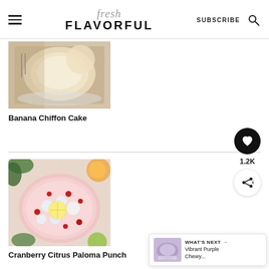fresh FLAVORFUL — SUBSCRIBE
[Figure (photo): Banana Chiffon Cake on a plate, top-down view, pale golden cake]
Banana Chiffon Cake
[Figure (photo): Cranberry Citrus Paloma Punch in a glass bowl with cranberries and ice]
Cranberry Citrus Paloma Punch
[Figure (other): What's Next panel showing Vibrant Purple Chewy... with thumbnail]
1.2K